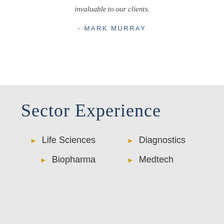invaluable to our clients.
- MARK MURRAY
Sector Experience
Life Sciences
Diagnostics
Biopharma
Medtech